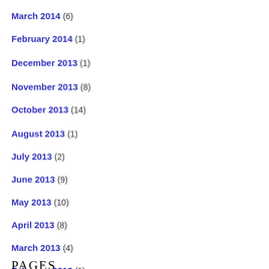March 2014 (6)
February 2014 (1)
December 2013 (1)
November 2013 (8)
October 2013 (14)
August 2013 (1)
July 2013 (2)
June 2013 (9)
May 2013 (10)
April 2013 (8)
March 2013 (4)
February 2013 (1)
Pages